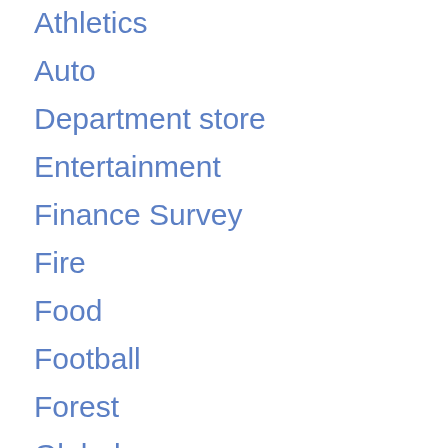Athletics
Auto
Department store
Entertainment
Finance Survey
Fire
Food
Football
Forest
Global
Grocery Store
Life
Local News
Nature